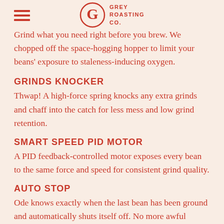Grey Roasting Co.
Grind what you need right before you brew. We chopped off the space-hogging hopper to limit your beans' exposure to staleness-inducing oxygen.
GRINDS KNOCKER
Thwap! A high-force spring knocks any extra grinds and chaff into the catch for less mess and low grind retention.
SMART SPEED PID MOTOR
A PID feedback-controlled motor exposes every bean to the same force and speed for consistent grind quality.
AUTO STOP
Ode knows exactly when the last bean has been ground and automatically shuts itself off. No more awful running noise…